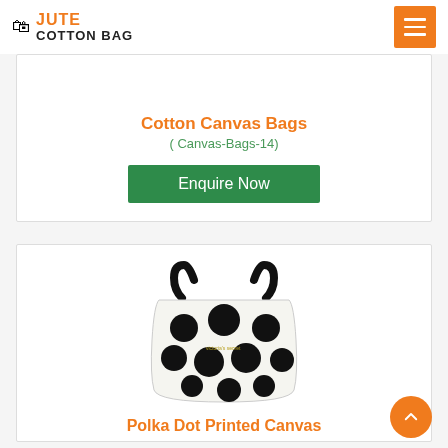JUTE COTTON BAG
Cotton Canvas Bags
( Canvas-Bags-14)
Enquire Now
[Figure (photo): White tote bag with large black polka dots and black handles]
Polka Dot Printed Canvas